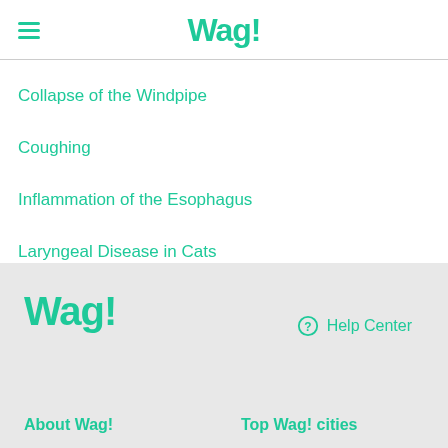Wag!
Collapse of the Windpipe
Coughing
Inflammation of the Esophagus
Laryngeal Disease in Cats
Bacterial Skin Infection
Wag! | Help Center | About Wag! | Top Wag! cities